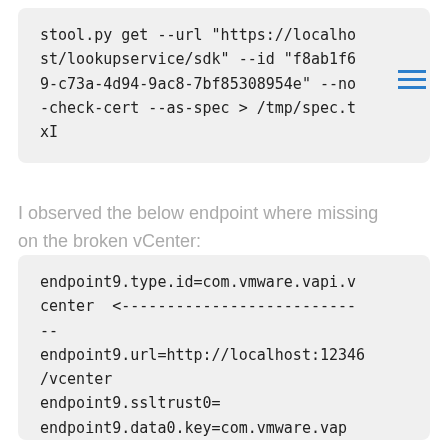stool.py get --url "https://localhost/lookupservice/sdk" --id "f8ab1f69-c73a-4d94-9ac8-7bf85308954e" --no-check-cert --as-spec > /tmp/spec.txI
I observed the below endpoint where missing on the broken vCenter:
endpoint9.type.id=com.vmware.vapi.vcenter  <--------------------------
--
endpoint9.url=http://localhost:12346/vcenter
endpoint9.ssltrust0=
endpoint9.data0.key=com.vmware.vapi.metadata.authentication.remote
endpoint9.data0.value=http://localhost:12346/vcenter
endpoint9.data1.key=com.vmware.vapi.metadata.metamodel.remote